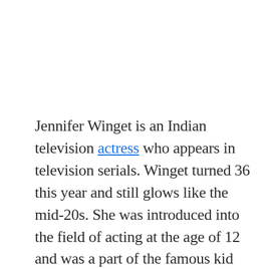Jennifer Winget is an Indian television actress who appears in television serials. Winget turned 36 this year and still glows like the mid-20s. She was introduced into the field of acting at the age of 12 and was a part of the famous kid show Shakalaka Boom Boom as a character named “Piya”. We have listed 10 facts about Jennifer Winget that you should know. We will know interesting facts about her like, her favorite food items are Subway